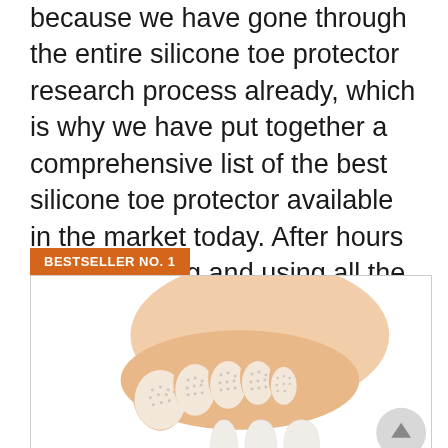because we have gone through the entire silicone toe protector research process already, which is why we have put together a comprehensive list of the best silicone toe protector available in the market today. After hours of researching and using all the models on the market, we find the best silicone toe protector of 2022. Check out our ranking below!
BESTSELLER NO. 1
[Figure (photo): Photo of a human foot with silicone toe protectors on the toes, and three individual silicone toe protector caps shown below.]